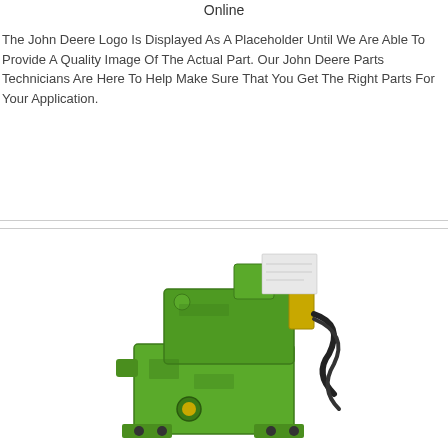Online
The John Deere Logo Is Displayed As A Placeholder Until We Are Able To Provide A Quality Image Of The Actual Part. Our John Deere Parts Technicians Are Here To Help Make Sure That You Get The Right Parts For Your Application.
$1330.10
[Figure (photo): A green John Deere mechanical part component, appears to be a gearbox or pump assembly, painted green with some wear and attached hoses/cables.]